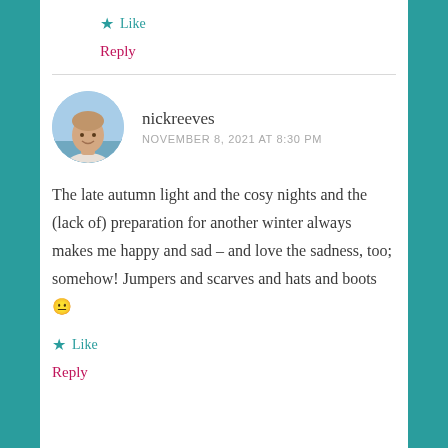★ Like
Reply
nickreeves
NOVEMBER 8, 2021 AT 8:30 PM
The late autumn light and the cosy nights and the (lack of) preparation for another winter always makes me happy and sad – and love the sadness, too; somehow! Jumpers and scarves and hats and boots 😐
★ Like
Reply